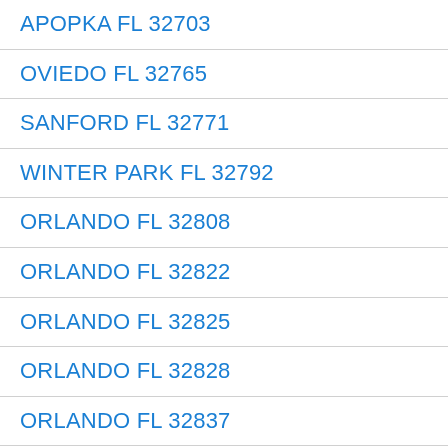APOPKA FL 32703
OVIEDO FL 32765
SANFORD FL 32771
WINTER PARK FL 32792
ORLANDO FL 32808
ORLANDO FL 32822
ORLANDO FL 32825
ORLANDO FL 32828
ORLANDO FL 32837
ORLANDO FL 32839
HIALEAH FL 33010
HIALEAH FL 33012
HIALEAH FL 33015